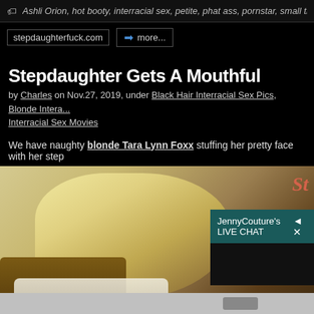Ashli Orion, hot booty, interracial sex, petite, phat ass, pornstar, small tits, s
stepdaughterfuck.com
more...
Stepdaughter Gets A Mouthful
by Charles on Nov.27, 2019, under Black Hair Interracial Sex Pics, Blonde Interracial Sex Movies, Interracial Sex Movies
We have naughty blonde Tara Lynn Foxx stuffing her pretty face with her step
[Figure (photo): A blonde woman on a bed, partially visible, with a live chat overlay from JennyCouture in the lower right]
JennyCouture's LIVE CHAT